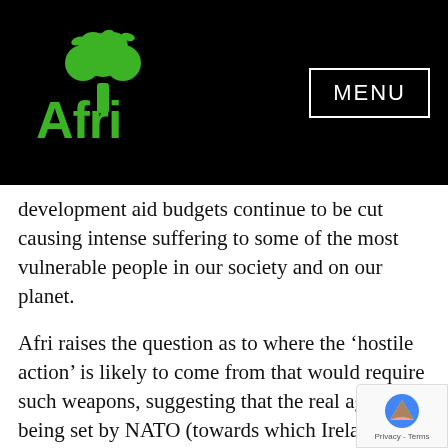Afri [logo] MENU
development aid budgets continue to be cut causing intense suffering to some of the most vulnerable people in our society and on our planet.
Afri raises the question as to where the ‘hostile action’ is likely to come from that would require such weapons, suggesting that the real agenda is being set by NATO (towards which Ireland is moving ever closer) with its push towards ‘interoperability’ and aggressive military action. Where does this fit with Ireland’s traditional neutrality, which has been shown to be strongly